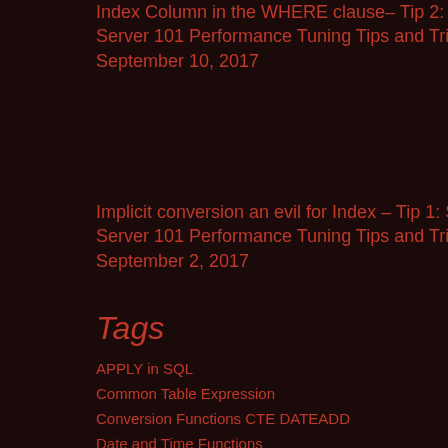Index Column in the WHERE clause– Tip 2: Sql Server 101 Performance Tuning Tips and Tricks  September 10, 2017
Implicit conversion an evil for Index – Tip 1: Sql Server 101 Performance Tuning Tips and Tricks  September 2, 2017
Tags
APPLY in SQL
Common Table Expression
Conversion Functions  CTE  DATEADD
Date and Time Functions
Error Message  Filtered Index
Foreign Key Constraint  FORMAT
Hekaton  JSON  JSON in Sql
JSON in Sql Server